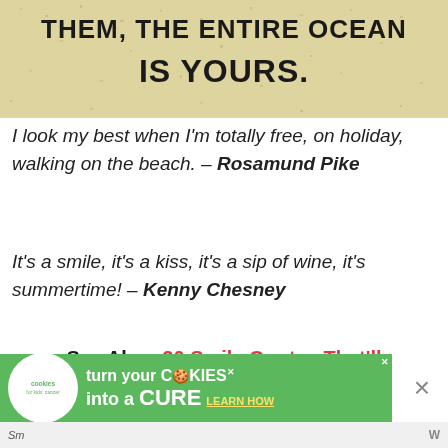[Figure (photo): Sandy beach texture background with bold black text reading 'IS YOURS.' (partial text, top cut off showing 'THEM, THE ENTIRE OCEAN IS YOURS.')]
I look my best when I'm totally free, on holiday, walking on the beach. – Rosamund Pike
It's a smile, it's a kiss, it's a sip of wine, it's summertime! – Kenny Chesney
See Also: 20 Smile Quotes That'll Make You Happy
[Figure (illustration): Cookies for Kids' Cancer advertisement banner: green background with white cookie circle logo on left, text 'turn your COOKIES into a CURE LEARN HOW' in white and yellow, with close X button]
Sm                                                                                        w